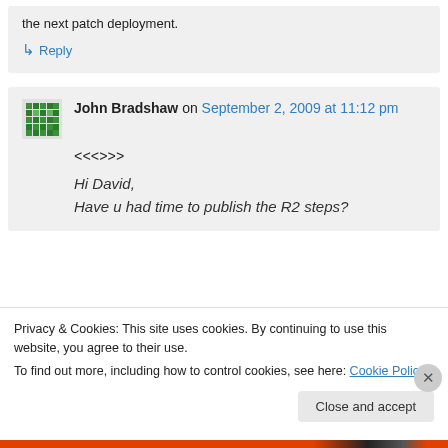the next patch deployment.
↳ Reply
John Bradshaw on September 2, 2009 at 11:12 pm
<<>>
Hi David,
Have u had time to publish the R2 steps?
Privacy & Cookies: This site uses cookies. By continuing to use this website, you agree to their use.
To find out more, including how to control cookies, see here: Cookie Policy
Close and accept